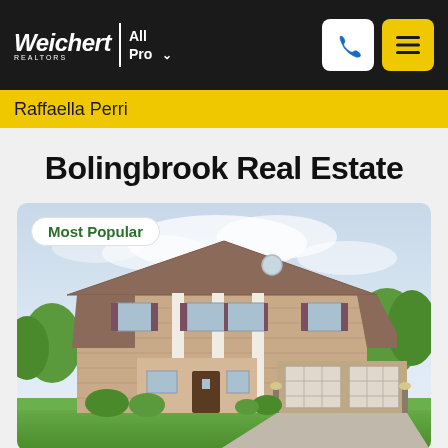[Figure (logo): Weichert Realtors All Pro logo with phone and menu icons in dark navigation bar]
Raffaella Perri
Bolingbrook Real Estate
[Figure (photo): Exterior photo of a large two-story brick colonial house with three-car garage, green landscaping, and a cloudy sky. Badge reads 'Most Popular'.]